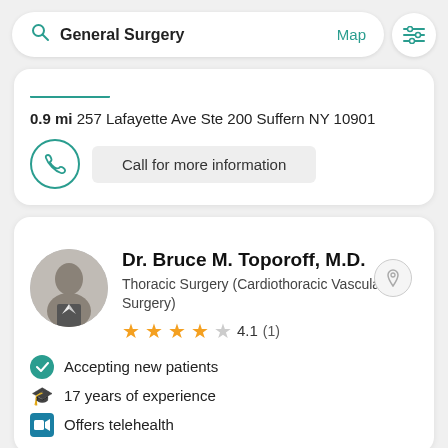General Surgery  Map
0.9 mi 257 Lafayette Ave Ste 200 Suffern NY 10901
Call for more information
Dr. Bruce M. Toporoff, M.D.
Thoracic Surgery (Cardiothoracic Vascular Surgery)
4.1 (1)
Accepting new patients
17 years of experience
Offers telehealth